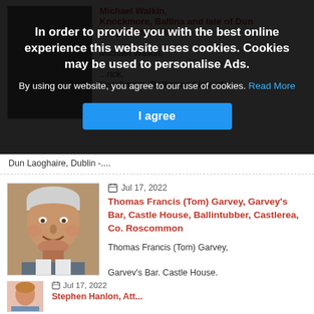In order to provide you with the best online experience this website uses cookies. Cookies may be used to personalise Ads.
By using our website, you agree to our use of cookies. Read More
I agree
[Figure (photo): Partially visible portrait photo obscured by cookie overlay]
Michael Walkin, Knockmore, Balliha and late of Dun Laoghaire, Dublin -...
[Figure (photo): Portrait photo of elderly man smiling, Thomas Francis (Tom) Garvey]
Jul 17, 2022
Thomas Francis (Tom) Garvey, Garvey's Bar, Castle House, Ballintubber, Castlerea, Co. Roscommon
Thomas Francis (Tom) Garvey,

Garvey's Bar, Castle House, Ballintubber, Castlerea, Co....
[Figure (photo): Partially visible portrait photo at bottom of page]
Jul 17, 2022
Stephen Hanlon, Att...